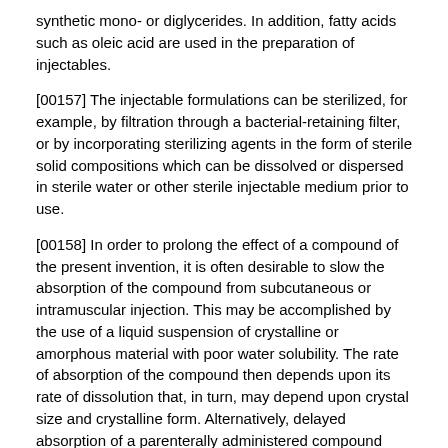synthetic mono- or diglycerides. In addition, fatty acids such as oleic acid are used in the preparation of injectables.
[00157] The injectable formulations can be sterilized, for example, by filtration through a bacterial-retaining filter, or by incorporating sterilizing agents in the form of sterile solid compositions which can be dissolved or dispersed in sterile water or other sterile injectable medium prior to use.
[00158] In order to prolong the effect of a compound of the present invention, it is often desirable to slow the absorption of the compound from subcutaneous or intramuscular injection. This may be accomplished by the use of a liquid suspension of crystalline or amorphous material with poor water solubility. The rate of absorption of the compound then depends upon its rate of dissolution that, in turn, may depend upon crystal size and crystalline form. Alternatively, delayed absorption of a parenterally administered compound form is accomplished by dissolving or suspending the compound in an oil vehicle. Injectable depot forms are made by forming microencapsule matrices of the compound in